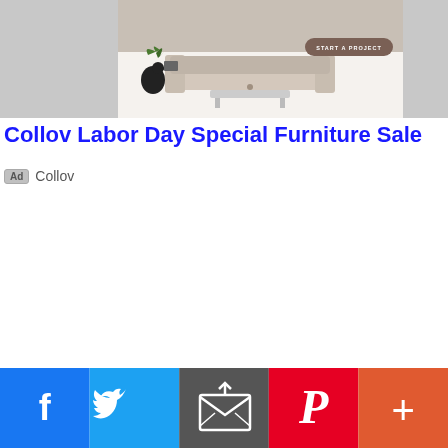[Figure (photo): Advertisement banner for Collov furniture, showing a room with a sofa and a 'START A PROJECT' button, with an illustration of a person reading. Gray background flanks the banner.]
Collov Labor Day Special Furniture Sale
Ad  Collov
[Figure (infographic): Social sharing bar at the bottom with Facebook (blue), Twitter (light blue), Email (gray), Pinterest (red), and More (orange-red) buttons with icons.]